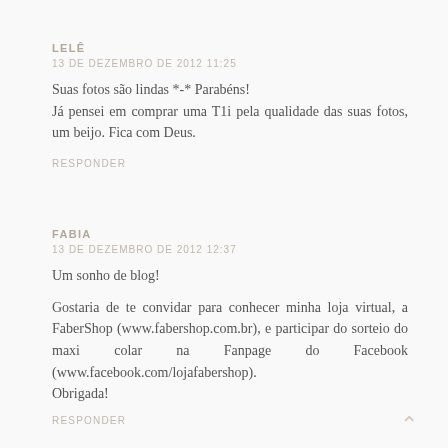LELÊ
13 DE DEZEMBRO DE 2012 11:25
Suas fotos são lindas *-* Parabéns! Já pensei em comprar uma T1i pela qualidade das suas fotos, um beijo. Fica com Deus.
RESPONDER
FABIA
13 DE DEZEMBRO DE 2012 12:37
Um sonho de blog!
Gostaria de te convidar para conhecer minha loja virtual, a FaberShop (www.fabershop.com.br), e participar do sorteio do maxi colar na Fanpage do Facebook (www.facebook.com/lojafabershop). Obrigada!
RESPONDER